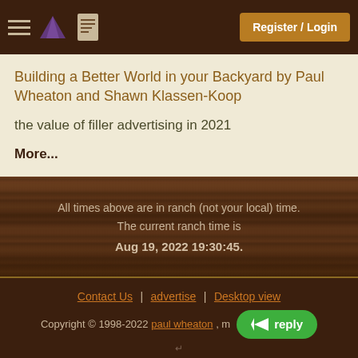Register / Login
Building a Better World in your Backyard by Paul Wheaton and Shawn Klassen-Koop
the value of filler advertising in 2021
More...
All times above are in ranch (not your local) time. The current ranch time is Aug 19, 2022 19:30:45.
Contact Us | advertise | Desktop view
Copyright © 1998-2022 paul wheaton , m...